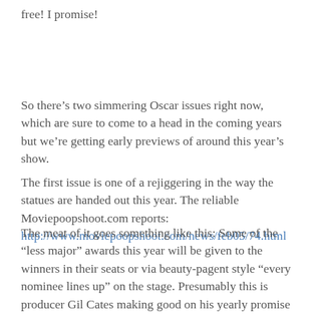free! I promise!
So there’s two simmering Oscar issues right now, which are sure to come to a head in the coming years but we’re getting early previews of around this year’s show.
The first issue is one of a rejiggering in the way the statues are handed out this year. The reliable Moviepoopshoot.com reports: http://www.moviepoopshoot.com/news/feb05/74.html
The meat of it goes something like this: Some of the “less major” awards this year will be given to the winners in their seats or via beauty-pagent style “every nominee lines up” on the stage. Presumably this is producer Gil Cates making good on his yearly promise to make the show go quicker and shake things up a bit… but c’mon, you don’t have to be any kind of insider to figure out what’s going on here: This is the Academy caving in to the sad reality that a majority of